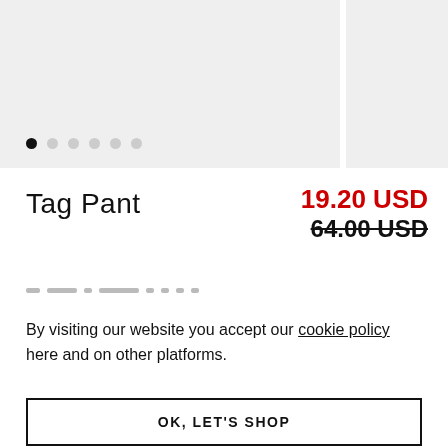[Figure (photo): Product image placeholder area shown as light gray background with carousel dots below]
Tag Pant
19.20 USD
64.00 USD
[redacted/blurred text line]
By visiting our website you accept our cookie policy here and on other platforms.
OK, LET'S SHOP